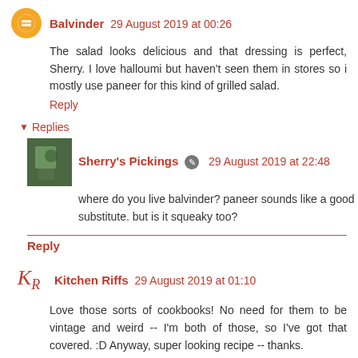Balvinder 29 August 2019 at 00:26
The salad looks delicious and that dressing is perfect, Sherry. I love halloumi but haven't seen them in stores so i mostly use paneer for this kind of grilled salad.
Reply
▼ Replies
Sherry's Pickings 29 August 2019 at 22:48
where do you live balvinder? paneer sounds like a good substitute. but is it squeaky too?
Reply
Kitchen Riffs 29 August 2019 at 01:10
Love those sorts of cookbooks! No need for them to be vintage and weird -- I'm both of those, so I've got that covered. :D Anyway, super looking recipe -- thanks.